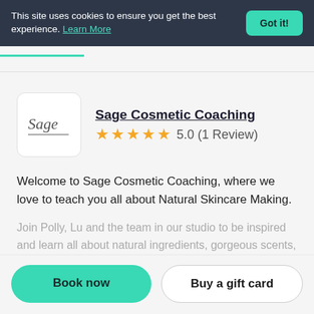This site uses cookies to ensure you get the best experience. Learn More
Sage Cosmetic Coaching 5.0 (1 Review)
Welcome to Sage Cosmetic Coaching, where we love to teach you all about Natural Skincare Making.
Join Polly, Lu and the team in our studio to be inspired and learn all about natural ingredients, gorgeous scents, how to create professional style products from home, while laughing with your new besties and
Book now
Buy a gift card